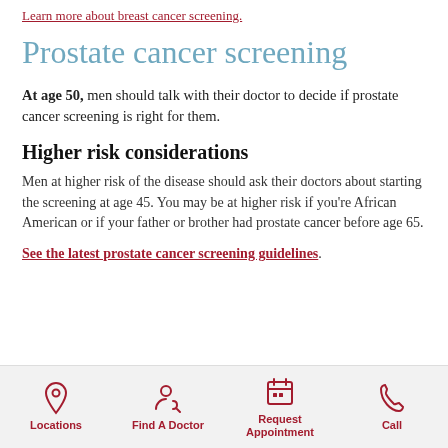Learn more about breast cancer screening.
Prostate cancer screening
At age 50, men should talk with their doctor to decide if prostate cancer screening is right for them.
Higher risk considerations
Men at higher risk of the disease should ask their doctors about starting the screening at age 45. You may be at higher risk if you're African American or if your father or brother had prostate cancer before age 65.
See the latest prostate cancer screening guidelines.
[Figure (infographic): Bottom navigation bar with four icons and labels: Locations (map pin icon), Find A Doctor (stethoscope icon), Request Appointment (calendar icon), Call (phone icon), all in dark red color on light gray background.]